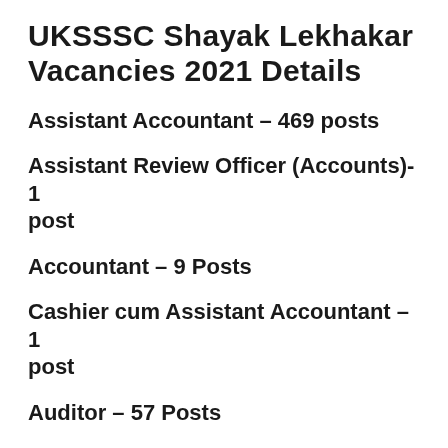UKSSSC Shayak Lekhakar Vacancies 2021 Details
Assistant Accountant – 469 posts
Assistant Review Officer (Accounts)- 1 post
Accountant – 9 Posts
Cashier cum Assistant Accountant – 1 post
Auditor – 57 Posts
Office Assistant III (Accounts) – 4 Posts
Guard under secretariat security cadre